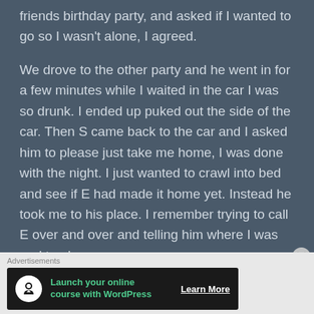friends birthday party, and asked if I wanted to go so I wasn't alone, I agreed.

We drove to the other party and he went in for a few minutes while I waited in the car I was so drunk. I ended up puked out the side of the car. Then S came back to the car and I asked him to please just take me home, I was done with the night. I just wanted to crawl into bed and see if E had made it home yet. Instead he took me to his place. I remember trying to call E over and over and telling him where I was and to please come get me. At S's house I went to the bathroom and
[Figure (other): Advertisement banner: 'Launch your online course with WordPress' with Learn More button]